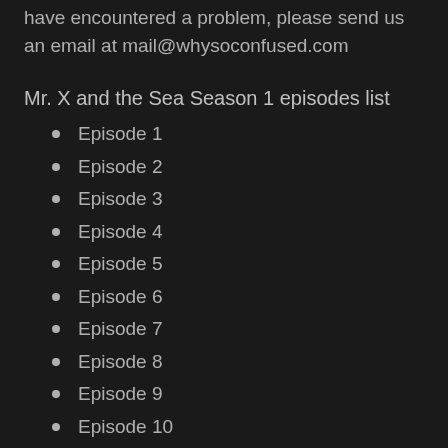have encountered a problem, please send us an email at mail@whysoconfused.com
Mr. X and the Sea Season 1 episodes list
Episode 1
Episode 2
Episode 3
Episode 4
Episode 5
Episode 6
Episode 7
Episode 8
Episode 9
Episode 10